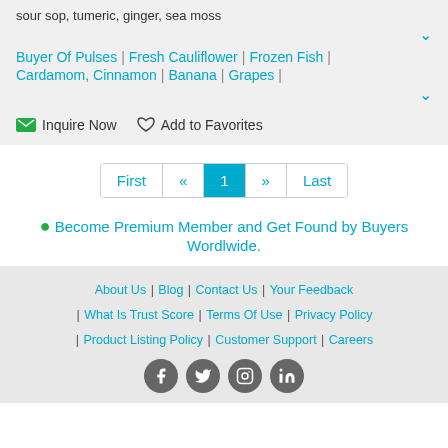sour sop, tumeric, ginger, sea moss
Buyer Of Pulses | Fresh Cauliflower | Frozen Fish | Cardamom, Cinnamon | Banana | Grapes |
Inquire Now   Add to Favorites
First « 1 » Last
Become Premium Member and Get Found by Buyers Wordlwide.
About Us | Blog | Contact Us | Your Feedback | What Is Trust Score | Terms Of Use | Privacy Policy | Product Listing Policy | Customer Support | Careers